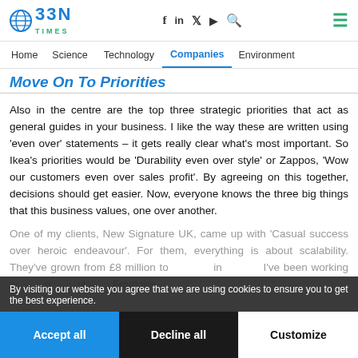BBN Times — Home | Science | Technology | Companies | Environment
Move On To Priorities
Also in the centre are the top three strategic priorities that act as general guides in your business. I like the way these are written using 'even over' statements – it gets really clear what's most important. So Ikea's priorities would be 'Durability even over style' or Zappos, 'Wow our customers even over sales profit'. By agreeing on this together, decisions should get easier. Now, everyone knows the three big things that this business values, one over another.
One of my clients, New Signature UK, came up with 'Casual success over heroic endeavour'. For them, everything is about scalability. They've grown from £8 million to … in … I've been working w… p… ol… From the …
By visiting our website you agree that we are using cookies to ensure you to get the best experience.